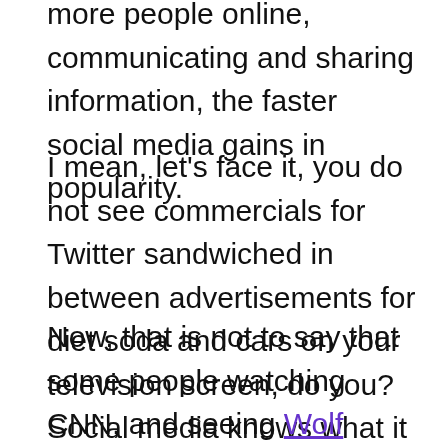more people online, communicating and sharing information, the faster social media gains in popularity.
I mean, let's face it, you do not see commercials for Twitter sandwiched in between advertisements for diet soda and cars on your television screen, do you? Social media knows what it is about, and mass media is not its shtick.
Now, that is not to say that some people watching CNN, and seeing Wolf Blitzer read comments posted on Twitter to his cable tv audience, would not get curious about microblogging, fire up their computer and check it out. Could a bunch of people in the 40 and older crowd be responding to this trend through their television? I suppose